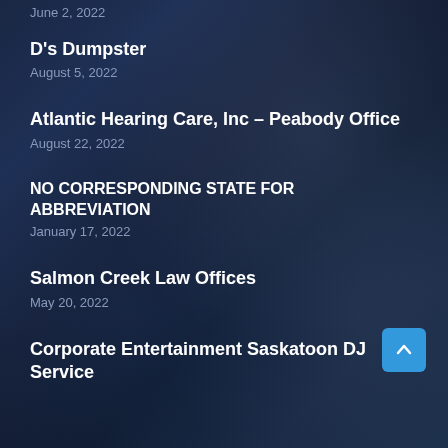June 2, 2022
D's Dumpster
August 5, 2022
Atlantic Hearing Care, Inc – Peabody Office
August 22, 2022
NO CORRESPONDING STATE FOR ABBREVIATION
January 17, 2022
Salmon Creek Law Offices
May 20, 2022
Corporate Entertainment Saskatoon DJ Service